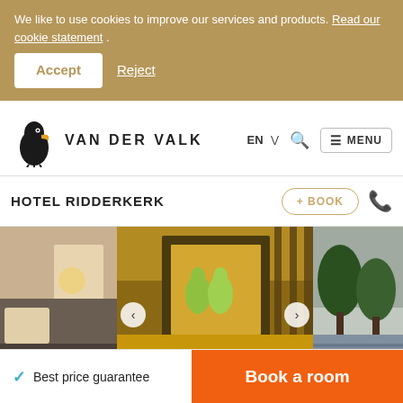We like to use cookies to improve our services and products. Read our cookie statement .
Accept  Reject
[Figure (logo): Van der Valk toucan bird logo with the text VAN DER VALK]
EN ∨  🔍  ☰ MENU
HOTEL RIDDERKERK
+ BOOK
[Figure (photo): Hotel interior image carousel showing: a hotel room on the left, a restaurant dining area with golden seating in the center, and an outdoor terrace on the right]
✓ Best price guarantee
Book a room